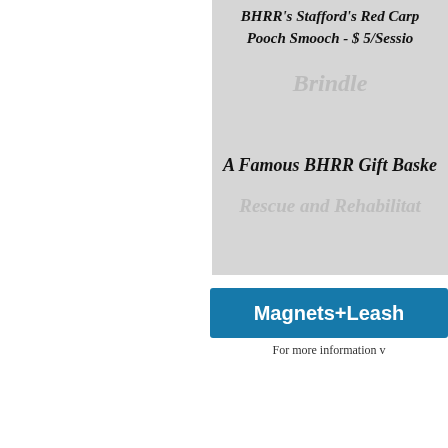[Figure (illustration): BHRR promotional banner image with text 'BHRR's Stafford's Red Carp... Pooch Smooch - $5/Sessio...' and 'A Famous BHRR Gift Baske...' with watermark text 'Rescue and Rehabilitat...']
[Figure (infographic): Blue banner bar with white bold text 'Magnets+Leash']
For more information v
Posted in Abby, Angel Noelle, Ani, Bishop, Bloom, Kaden, Kricket, Leroy, Maverick, Merlin, Oakley, Windsor, Zayna
[Figure (illustration): Gray ribbon/separator graphic]
Just leaving Kana now! This is a photo of his n next week and, he will remain on antibiotics fo Dr. P took out a whole bowl full of fluid includi drain. Dr. P said he had a massive sudden o We were looking at either Cancer and/or a pla bones.
We also sent off a sample for culture and did